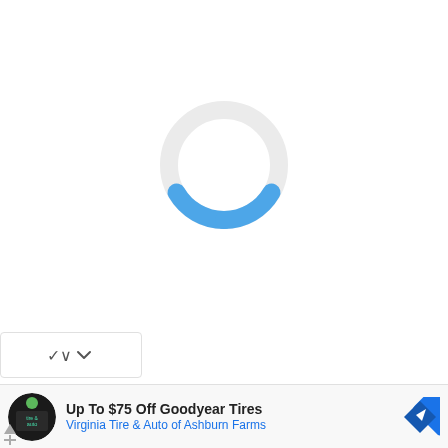[Figure (other): A circular loading spinner with a light gray ring and a blue arc segment at the bottom, indicating a loading state.]
[Figure (other): A dropdown UI element showing a downward chevron (v) arrow on a white rounded rectangle card.]
Up To $75 Off Goodyear Tires Virginia Tire & Auto of Ashburn Farms